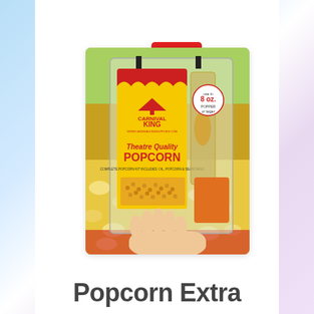< BACK
[Figure (photo): Carnival King Theatre Quality Popcorn kit package held by a hand over a popcorn machine filled with popcorn. The yellow package shows the Carnival King logo with a circus tent, 'Theatre Quality POPCORN', and text 'COMPLETE POPCORN KIT INCLUDES: OIL, POPCORN & SEASONING'. A circular badge reads 'use in 8 oz. POPPER or larger'. The kit contains separate pouches visible through clear packaging.]
Popcorn Extra